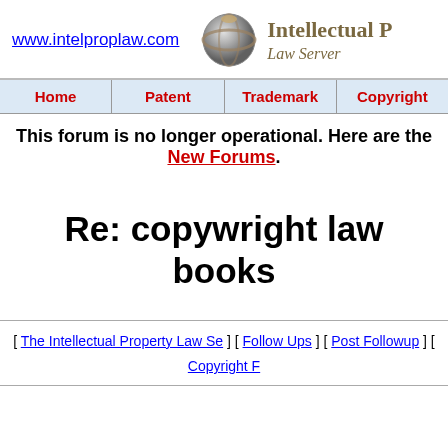www.intelproplaw.com | Intellectual Property Law Server
| Home | Patent | Trademark | Copyright |
| --- | --- | --- | --- |
This forum is no longer operational. Here are the New Forums.
Re: copywright law books
[ The Intellectual Property Law Se... ] [ Follow Ups ] [ Post Followup ] [ Copyright F...